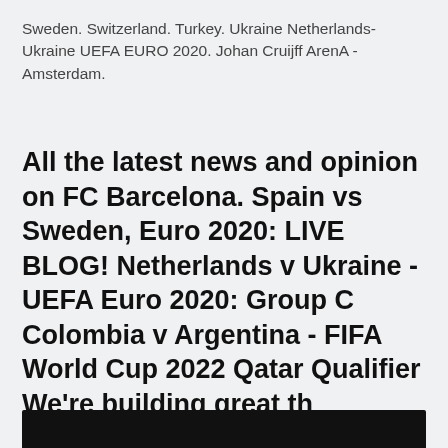Sweden. Switzerland. Turkey. Ukraine Netherlands-Ukraine UEFA EURO 2020. Johan Cruijff ArenA - Amsterdam.
All the latest news and opinion on FC Barcelona. Spain vs Sweden, Euro 2020: LIVE BLOG! Netherlands v Ukraine - UEFA Euro 2020: Group C Colombia v Argentina - FIFA World Cup 2022 Qatar Qualifier We're building great th
[Figure (photo): Dark/black image partially visible at the bottom of the page]